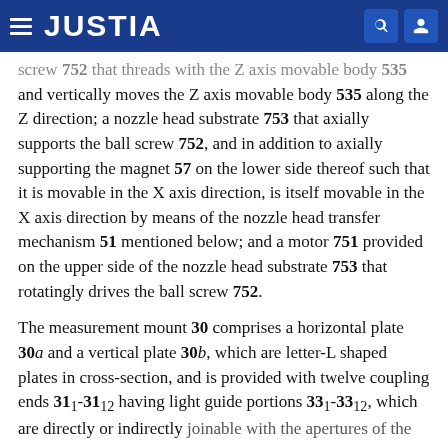JUSTIA
screw 752 that threads with the Z axis movable body 535 and vertically moves the Z axis movable body 535 along the Z direction; a nozzle head substrate 753 that axially supports the ball screw 752, and in addition to axially supporting the magnet 57 on the lower side thereof such that it is movable in the X axis direction, is itself movable in the X axis direction by means of the nozzle head transfer mechanism 51 mentioned below; and a motor 751 provided on the upper side of the nozzle head substrate 753 that rotatingly drives the ball screw 752.
The measurement mount 30 comprises a horizontal plate 30a and a vertical plate 30b, which are letter-L shaped plates in cross-section, and is provided with twelve coupling ends 311-3112 having light guide portions 331-3312, which are directly or indirectly joinable with the apertures of the reaction containers